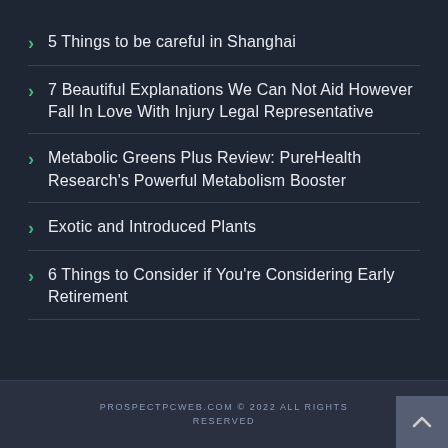5 Things to be careful in Shanghai
7 Beautiful Explanations We Can Not Aid However Fall In Love With Injury Legal Representative
Metabolic Greens Plus Review: PureHealth Research's Powerful Metabolism Booster
Exotic and Introduced Plants
6 Things to Consider if You're Considering Early Retirement
PROSPECTPCWEB.COM © 2022 ALL RIGHTS RESERVED